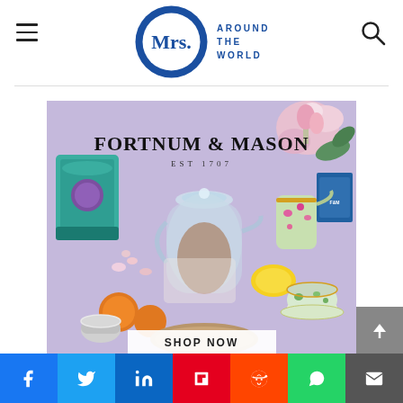[Figure (logo): Mrs. O Around The World blog logo — large blue O circle with 'Mrs.' inside and 'AROUND THE WORLD' text to the right]
[Figure (photo): Fortnum & Mason advertisement image showing tea products, glass teapot, decorative tin, and teacup on a lavender background with flowers. Text reads 'FORTNUM & MASON EST 1707'. A white bar at bottom reads 'SHOP NOW'.]
[Figure (infographic): Social sharing bar with icons for Facebook, Twitter, LinkedIn, Flipboard, Reddit, WhatsApp, and Email]